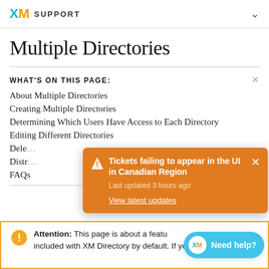XM SUPPORT
Multiple Directories
WHAT'S ON THIS PAGE:
About Multiple Directories
Creating Multiple Directories
Determining Which Users Have Access to Each Directory
Editing Different Directories
Delet…
Distr…
FAQs
[Figure (screenshot): Orange notification popup: Tickets failing to appear in the UI in Canadian Region. Last updated 3 hours ago. View latest updates link.]
Attention: This page is about a feature not included with XM Directory by default. If you do